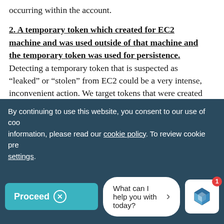occurring within the account.
2. A temporary token which created for EC2 machine and was used outside of that machine and the temporary token was used for persistence.
Detecting a temporary token that is suspected as “leaked” or “stolen” from EC2 could be a very intense, inconvenient action. We target tokens that were created for EC2 instances and used to persistence outside of the machine. We are looking after the following records structure:
* Token that in its useridentity object the ARN attribute looks like ‘arn:aws:sts::{account_id}:assumed-role/{role-name}/{instance_id}’
* The token used in a non-EC2 machine IP address
By continuing to use this website, you consent to our use of cookies. For more information, please read our cookie policy. To review cookie preferences, go to settings.
Proceed ×
What can I help you with today?